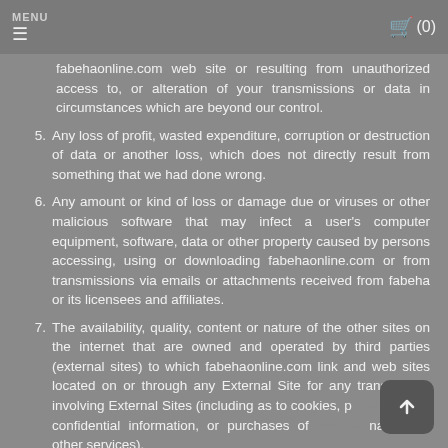MENU (0)
fabehaonline.com web site or resulting from unauthorized access to, or alteration of your transmissions or data in circumstances which are beyond our control.
5. Any loss of profit, wasted expenditure, corruption or destruction of data or another loss, which does not directly result from something that we had done wrong.
6. Any amount or kind of loss or damage due or viruses or other malicious software that may infect a user's computer equipment, software, data or other property caused by persons accessing, using or downloading fabehaonline.com or from transmissions via emails or attachments received from fabeha or its licensees and affiliates.
7. The availability, quality, content or nature of the other sites on the internet that are owned and operated by third parties (external sites) to which fabehaonline.com link and web sites located on or through any External Site for any transactions involving External Sites (including as to cookies, personal data, confidential information, or purchases of domain names or other services).